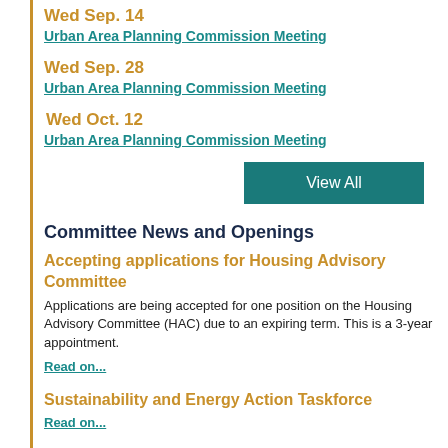Wed Sep. 14
Urban Area Planning Commission Meeting
Wed Sep. 28
Urban Area Planning Commission Meeting
Wed Oct. 12
Urban Area Planning Commission Meeting
View All
Committee News and Openings
Accepting applications for Housing Advisory Committee
Applications are being accepted for one position on the Housing Advisory Committee (HAC) due to an expiring term. This is a 3-year appointment.
Read on...
Sustainability and Energy Action Taskforce
Read on...